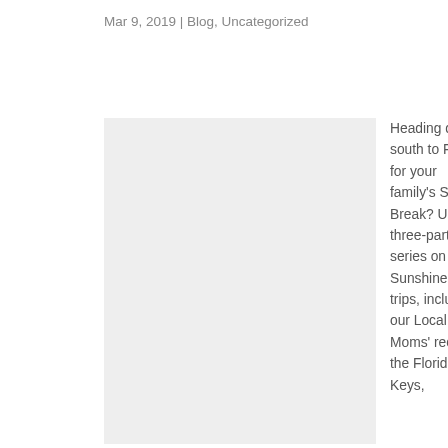Mar 9, 2019 | Blog, Uncategorized
[Figure (photo): Light gray rectangular image placeholder]
Heading down south to Florida for your family's Spring Break? Use our three-part series on Sunshine State trips, including our Local Moms' recs for the Florida Keys,